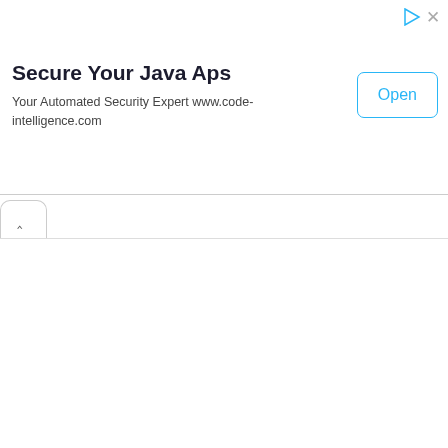Secure Your Java Aps
Your Automated Security Expert www.code-intelligence.com
[Figure (screenshot): Advertisement banner with title 'Secure Your Java Aps', subtitle 'Your Automated Security Expert www.code-intelligence.com', and an 'Open' button on the right. Top right corner has a play/ad icon and close X button.]